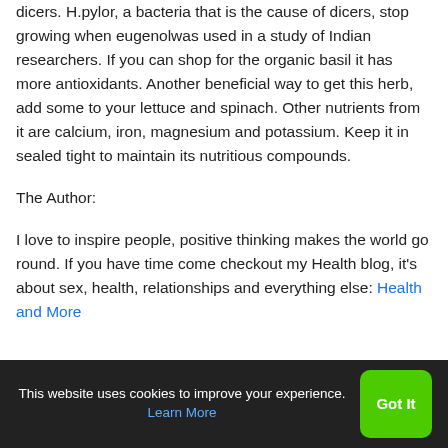dicers. H.pylor, a bacteria that is the cause of dicers, stop growing when eugenolwas used in a study of Indian researchers. If you can shop for the organic basil it has more antioxidants. Another beneficial way to get this herb, add some to your lettuce and spinach. Other nutrients from it are calcium, iron, magnesium and potassium. Keep it in sealed tight to maintain its nutritious compounds.
The Author:
I love to inspire people, positive thinking makes the world go round. If you have time come checkout my Health blog, it's about sex, health, relationships and everything else: Health and More
This website uses cookies to improve your experience. Learn More  Got It